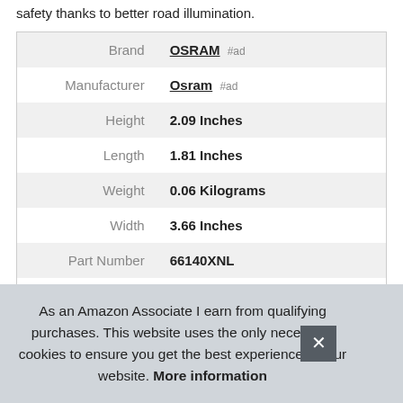safety thanks to better road illumination.
|  |  |
| --- | --- |
| Brand | OSRAM #ad |
| Manufacturer | Osram #ad |
| Height | 2.09 Inches |
| Length | 1.81 Inches |
| Weight | 0.06 Kilograms |
| Width | 3.66 Inches |
| Part Number | 66140XNL |
| Model | 66140XNL |
As an Amazon Associate I earn from qualifying purchases. This website uses the only necessary cookies to ensure you get the best experience on our website. More information